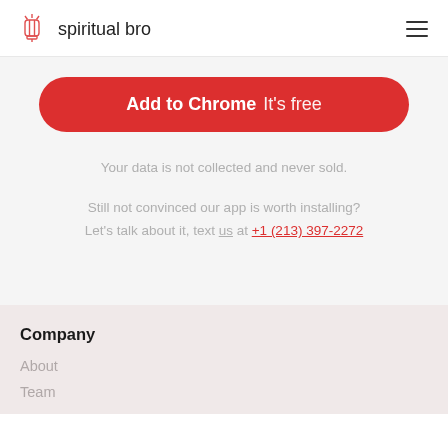spiritual bro
[Figure (logo): Spiritual bro logo with a lantern icon and text 'spiritual bro']
Add to Chrome It's free
Your data is not collected and never sold.
Still not convinced our app is worth installing? Let's talk about it, text us at +1 (213) 397-2272
Company
About
Team